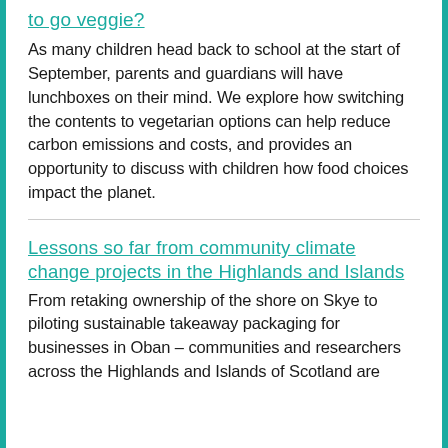to go veggie?
As many children head back to school at the start of September, parents and guardians will have lunchboxes on their mind. We explore how switching the contents to vegetarian options can help reduce carbon emissions and costs, and provides an opportunity to discuss with children how food choices impact the planet.
Lessons so far from community climate change projects in the Highlands and Islands
From retaking ownership of the shore on Skye to piloting sustainable takeaway packaging for businesses in Oban – communities and researchers across the Highlands and Islands of Scotland are